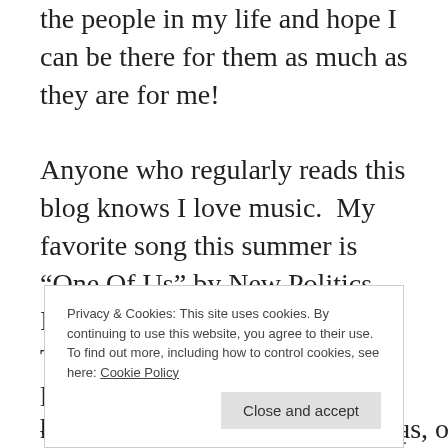the people in my life and hope I can be there for them as much as they are for me!

Anyone who regularly reads this blog knows I love music.  My favorite song this summer is “One Of Us” by New Politics.  It sounds like vintage Queen.  The lyrics... man, if they don't lift you up, I don't know what will.  When I get in my car, I put this on and sing my
Privacy & Cookies: This site uses cookies. By continuing to use this website, you agree to their use.
To find out more, including how to control cookies, see here: Cookie Policy
Close and accept
hear some guy singing “One of us, one of